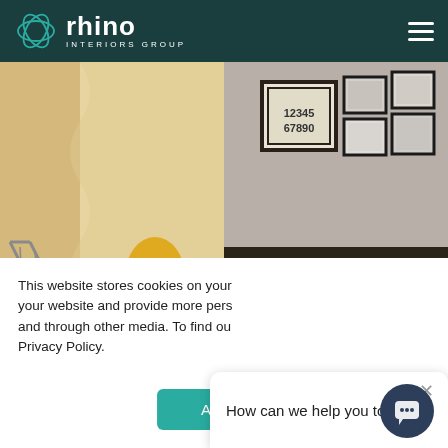rhino INTERIORS GROUP
[Figure (photo): Two interior design photos side by side: left shows a yellow modern armchair near a staircase with wavy wall panels; right shows a conference/dining area with orange leather chairs, dark table, and framed art on wall including a frame with '12345 67890']
This website stores cookies on your computer. These cookies are used to collect information about how you interact with your website and provide more personalized experience, and through other media. To find out more about the cookies we use, see our Privacy Policy.
How can we help you today?